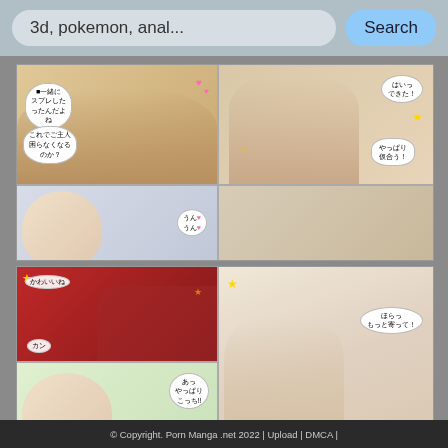3d, pokemon, anal...   Search
[Figure (illustration): Manga comic page panel 1: Japanese manga panels showing anime-style characters with speech bubbles in Japanese text]
[Figure (illustration): Manga comic page panel 2: Japanese manga panels showing anime-style characters with speech bubbles in Japanese text]
[Figure (illustration): Manga comic page panel 3 (partially visible at bottom)]
© Copyright. Porn Manga .net 2022 | Upload | DMCA |